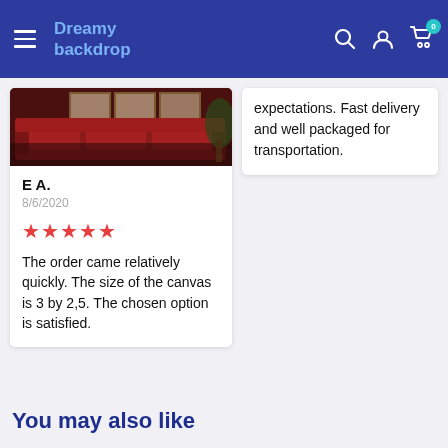Dreamy backdrop
[Figure (photo): Photo of red sofa/couch near windows in a room]
E A.
8/6/2020
★★★★★
The order came relatively quickly. The size of the canvas is 3 by 2,5. The chosen option is satisfied.
expectations. Fast delivery and well packaged for transportation.
You may also like